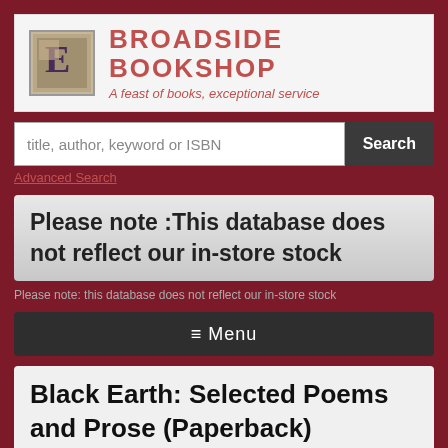BROADSIDE BOOKSHOP — A feast of books, exceptional service
title, author, keyword or ISBN
Advanced Search
Please note :This database does not reflect our in-store stock
Please note: this database does not reflect our in-store stock
≡ Menu
Black Earth: Selected Poems and Prose (Paperback)